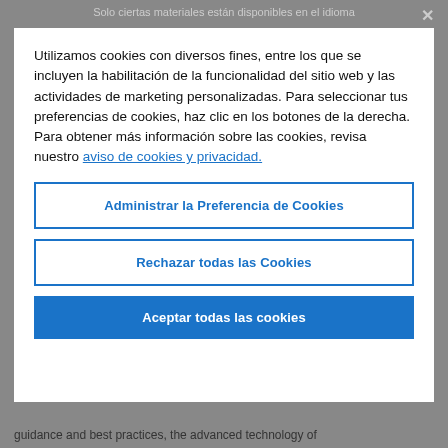Solo ciertas materiales están disponibles en el idioma
Utilizamos cookies con diversos fines, entre los que se incluyen la habilitación de la funcionalidad del sitio web y las actividades de marketing personalizadas. Para seleccionar tus preferencias de cookies, haz clic en los botones de la derecha. Para obtener más información sobre las cookies, revisa nuestro aviso de cookies y privacidad.
Administrar la Preferencia de Cookies
Rechazar todas las Cookies
Aceptar todas las cookies
guidance and best practices, the advanced technology of